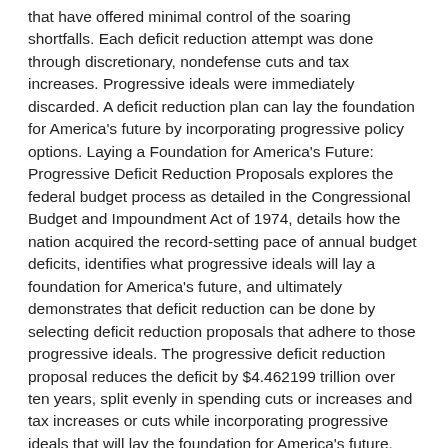that have offered minimal control of the soaring shortfalls. Each deficit reduction attempt was done through discretionary, nondefense cuts and tax increases. Progressive ideals were immediately discarded. A deficit reduction plan can lay the foundation for America's future by incorporating progressive policy options. Laying a Foundation for America's Future: Progressive Deficit Reduction Proposals explores the federal budget process as detailed in the Congressional Budget and Impoundment Act of 1974, details how the nation acquired the record-setting pace of annual budget deficits, identifies what progressive ideals will lay a foundation for America's future, and ultimately demonstrates that deficit reduction can be done by selecting deficit reduction proposals that adhere to those progressive ideals. The progressive deficit reduction proposal reduces the deficit by $4.462199 trillion over ten years, split evenly in spending cuts or increases and tax increases or cuts while incorporating progressive ideals that will lay the foundation for America's future. This proposal demonstrates that there is a progressive manner in which meaningful deficit reduction can be done while targeting both domestic spending cuts and tax increases. Throughout this exercise, the progressive proposal includes tax cuts for the middle class and increases in spending that have an effect on the